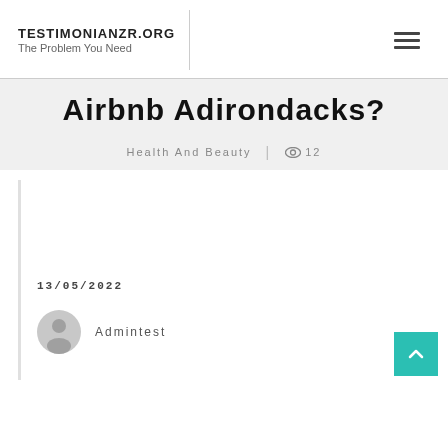TESTIMONIANZR.ORG
The Problem You Need
Airbnb Adirondacks?
Health And Beauty | 12
13/05/2022
Admintest